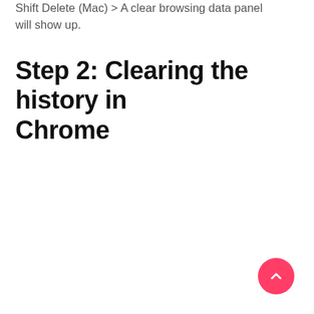Shift Delete (Mac) > A Clear browsing data panel will show up.
Step 2: Clearing the history in Chrome
[Figure (other): Pink/red circular floating action button with an upward-pointing chevron arrow, positioned in the bottom-right corner of the page.]